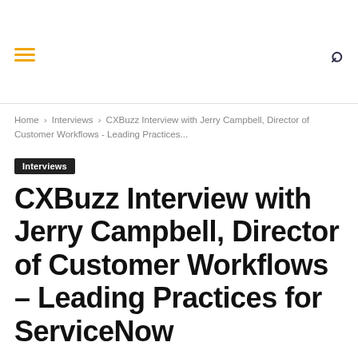[hamburger menu icon] [search icon]
Home › Interviews › CXBuzz Interview with Jerry Campbell, Director of Customer Workflows - Leading Practices...
Interviews
CXBuzz Interview with Jerry Campbell, Director of Customer Workflows – Leading Practices for ServiceNow